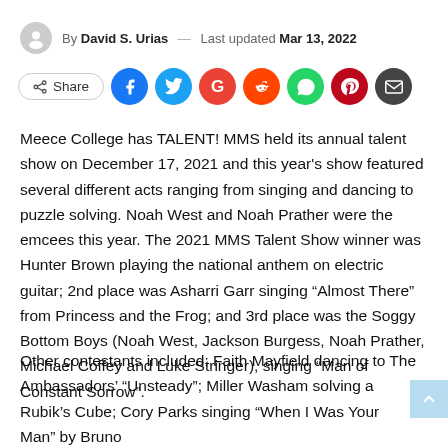By David S. Urias — Last updated Mar 13, 2022
[Figure (infographic): Social share bar with Share button, Facebook, Twitter, Google, Reddit, WhatsApp, Pinterest, and Email icons]
Meece College has TALENT! MMS held its annual talent show on December 17, 2021 and this year's show featured several different acts ranging from singing and dancing to puzzle solving. Noah West and Noah Prather were the emcees this year. The 2021 MMS Talent Show winner was Hunter Brown playing the national anthem on electric guitar; 2nd place was Asharri Garr singing “Almost There” from Princess and the Frog; and 3rd place was the Soggy Bottom Boys (Noah West, Jackson Burgess, Noah Prather, Michael Coffey and Luke Stringer), singing “Man of Constant Sorrow”.
Other contestants included: Faith Mayfield dancing to The Ambassadors’ “Unsteady”; Miller Washam solving a Rubik’s Cube; Cory Parks singing “When I Was Your Man” by Bruno